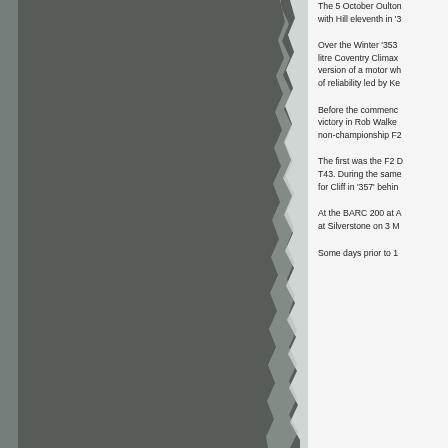[Figure (photo): Dark grey torn/ragged left side of page, representing a partial image or torn paper edge against a light background]
The 5 October Oulton... with Hill eleventh in '3...
Over the Winter '353... litre Coventry Climax... version of a motor wh... of reliability led by Ke...
Before the commenc... victory in Rob Walke... non-championship F2...
The first was the F2 ... T43. During the same... for Cliff in '357' behin...
At the BARC 200 at A... at Silverstone on 3 M...
Some days prior to 1...